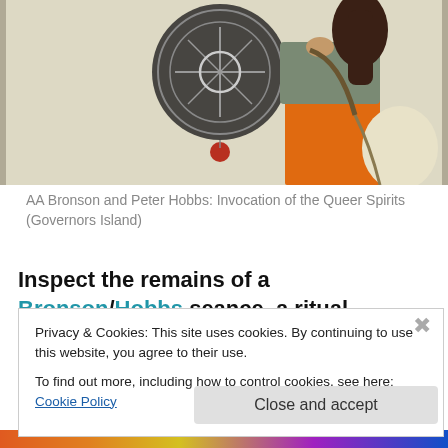[Figure (photo): A person wearing a grey t-shirt and orange skirt, carrying a large cream/white bag. In the background is a dark circular decorative piece on a light wall. A small red round object hangs on the wall below.]
AA Bronson and Peter Hobbs: Invocation of the Queer Spirits (Governors Island)
Inspect the remains of a Bronson/Hobbs seance, a ritual
Privacy & Cookies: This site uses cookies. By continuing to use this website, you agree to their use.
To find out more, including how to control cookies, see here: Cookie Policy
Close and accept